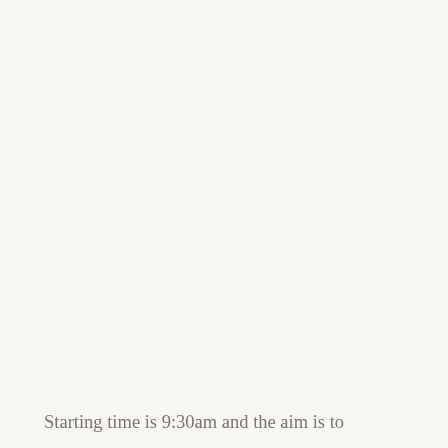Starting time is 9:30am and the aim is to